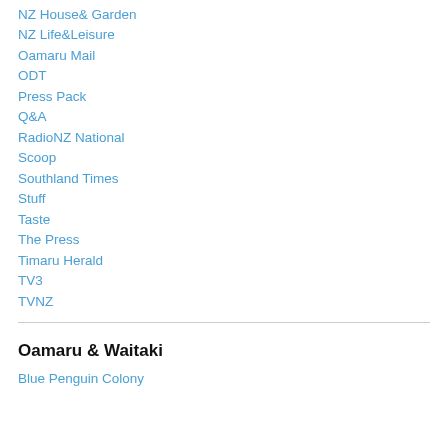NZ House& Garden
NZ Life&Leisure
Oamaru Mail
ODT
Press Pack
Q&A
RadioNZ National
Scoop
Southland Times
Stuff
Taste
The Press
Timaru Herald
TV3
TVNZ
Oamaru & Waitaki
Blue Penguin Colony